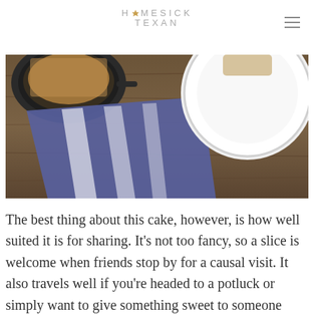HOMESICK TEXAN
[Figure (photo): Food photograph showing a cast iron skillet with a crumble or cake, a striped blue and white cloth napkin on a wooden table surface, and a white plate in the upper right corner.]
The best thing about this cake, however, is how well suited it is for sharing. It's not too fancy, so a slice is welcome when friends stop by for a causal visit. It also travels well if you're headed to a potluck or simply want to give something sweet to someone you love. And as my grandma shared it with me, I now share it with you.